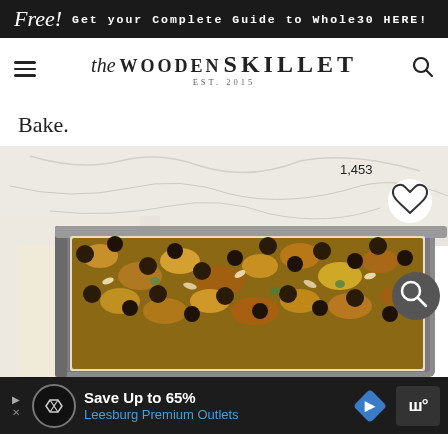Free! Get your Complete Guide to Whole30 HERE!
The Wooden Skillet EST. 2015
Bake.
[Figure (photo): A baking pan filled with what appears to be a chocolate chip granola or trail mix bar mixture, viewed from above at an angle. The pan is lined with parchment paper. A like/heart button with count 1,453 is overlaid, along with a search button.]
Save Up to 65% Leesburg Premium Outlets